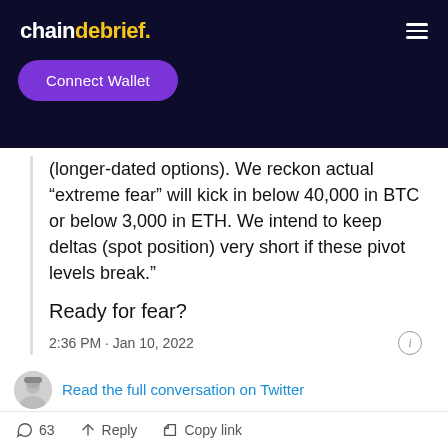chaindebrief.
Connect Wallet
(longer-dated options). We reckon actual “extreme fear” will kick in below 40,000 in BTC or below 3,000 in ETH. We intend to keep deltas (spot position) very short if these pivot levels break.”
Ready for fear?
2:36 PM · Jan 10, 2022
Read the full conversation on Twitter